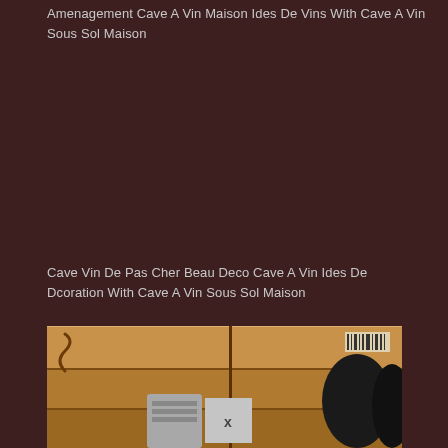Amenagement Cave A Vin Maison Ides De Vins With Cave A Vin Sous Sol Maison
Cave Vin De Pas Cher Beau Deco Cave A Vin Ides De Dcoration With Cave A Vin Sous Sol Maison
[Figure (photo): Wooden wine crate planks with dark wine bottles visible on the right side and a silver/grey element at the bottom with an X button overlay]